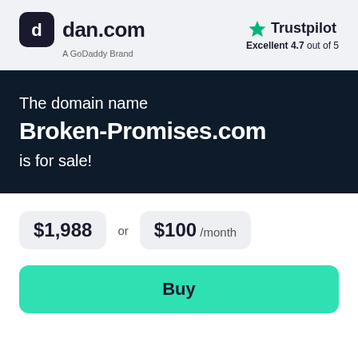[Figure (logo): dan.com logo with GoDaddy Brand subtitle and Trustpilot Excellent 4.7 out of 5 rating]
The domain name Broken-Promises.com is for sale!
$1,988 or $100 /month
Buy